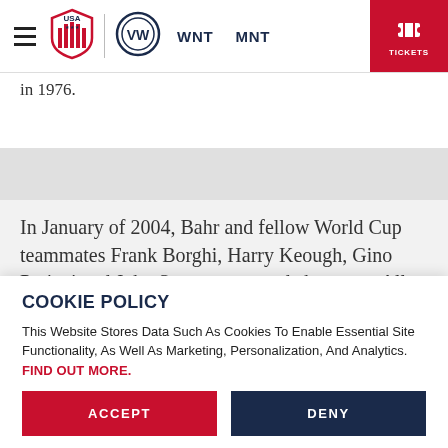[Figure (screenshot): USA Soccer navigation bar with hamburger menu, USA Soccer shield logo, Volkswagen logo, WNT and MNT links, and red TICKETS button]
in 1976.
In January of 2004, Bahr and fellow World Cup teammates Frank Borghi, Harry Keough, Gino Pariani and John Souza were made honorary All-Americans
COOKIE POLICY
This Website Stores Data Such As Cookies To Enable Essential Site Functionality, As Well As Marketing, Personalization, And Analytics. FIND OUT MORE.
ACCEPT
DENY